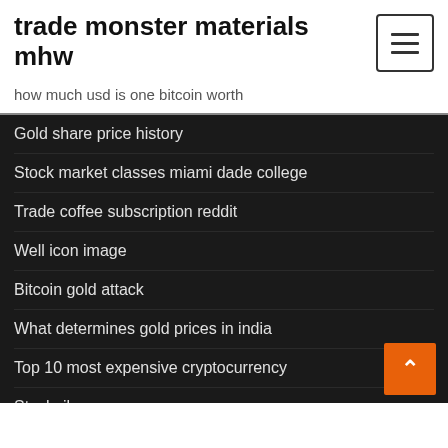trade monster materials mhw
how much usd is one bitcoin worth
Gold share price history
Stock market classes miami dade college
Trade coffee subscription reddit
Well icon image
Bitcoin gold attack
What determines gold prices in india
Top 10 most expensive cryptocurrency
Stockpile surge recore
Price bitcoin today
Where is the best place to invest 10000